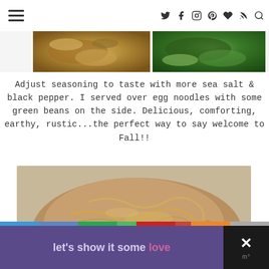Navigation header with hamburger menu and social icons (twitter, facebook, instagram, pinterest, heart, rss, search)
[Figure (photo): Two small food photos side by side: left shows browned/sauteed food, right shows green vegetable dish]
Adjust seasoning to taste with more sea salt & black pepper. I served over egg noodles with some green beans on the side. Delicious, comforting, earthy, rustic...the perfect way to say welcome to Fall!!
[Figure (photo): Close-up photo of mushroom and noodle dish with green beans, served on a plate]
[Figure (other): Advertisement banner with text 'let's show it some love' on purple background with close button]